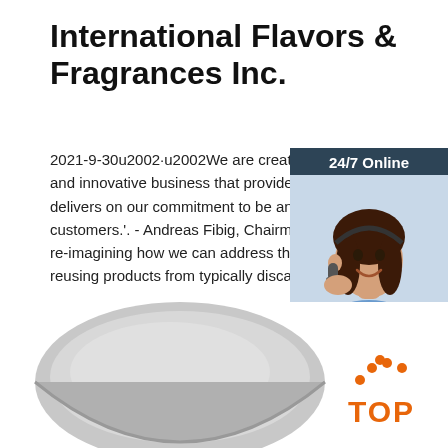International Flavors & Fragrances Inc.
2021-9-30u2002 u2002We are creating an agile, and innovative business that provides exceptiona delivers on our commitment to be an essential pa customers.'. - Andreas Fibig, Chairman and CEO re-imagining how we can address the challenge reusing products from typically discarded side st
[Figure (photo): Chat widget with woman wearing headset, 24/7 Online header, Click here for free chat, QUOTATION button]
[Figure (photo): Gray powder in a round bowl/dish]
[Figure (logo): TOP logo with orange dots arranged in arc above orange TOP text]